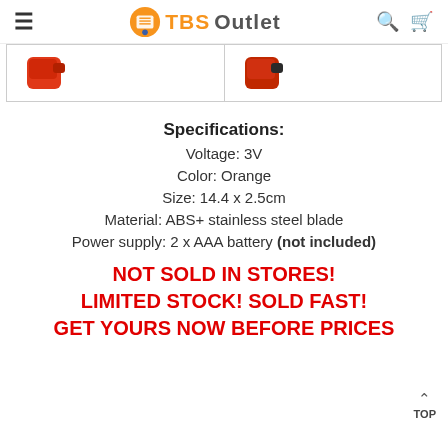TBS Outlet
[Figure (photo): Two product images showing orange/red device, side by side in a bordered grid]
Specifications:
Voltage: 3V
Color: Orange
Size: 14.4 x 2.5cm
Material: ABS+ stainless steel blade
Power supply: 2 x AAA battery (not included)
NOT SOLD IN STORES! LIMITED STOCK! SOLD FAST! GET YOURS NOW BEFORE PRICES